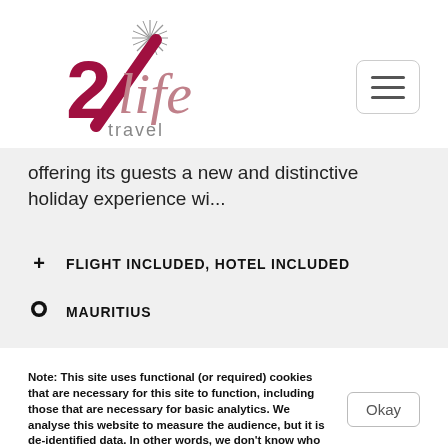[Figure (logo): 2life travel logo with stylized red/crimson number 2 and italic script 'life' text with a starburst above, and 'travel' below in gray]
offering its guests a new and distinctive holiday experience wi...
+ FLIGHT INCLUDED, HOTEL INCLUDED
MAURITIUS
Note: This site uses functional (or required) cookies that are necessary for this site to function, including those that are necessary for basic analytics. We analyse this website to measure the audience, but it is de-identified data. In other words, we don't know who you are.